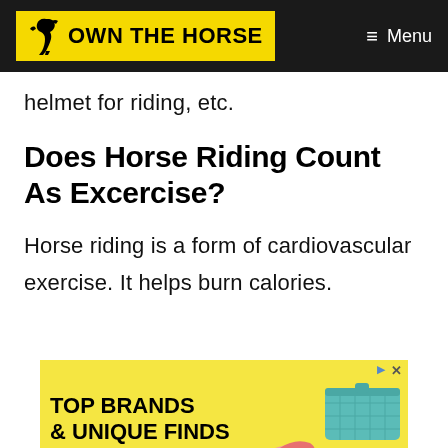OWN THE HORSE | Menu
helmet for riding, etc.
Does Horse Riding Count As Excercise?
Horse riding is a form of cardiovascular exercise. It helps burn calories.
[Figure (other): Advertisement banner for Zulily: TOP BRANDS & UNIQUE FINDS, Daily deals up to 70% off, featuring shoes and a handbag on yellow background.]